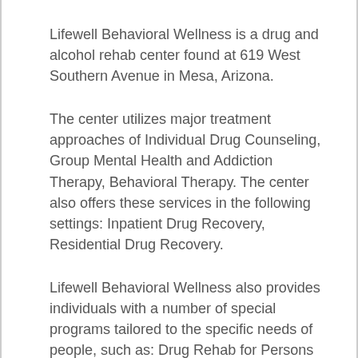Lifewell Behavioral Wellness is a drug and alcohol rehab center found at 619 West Southern Avenue in Mesa, Arizona.
The center utilizes major treatment approaches of Individual Drug Counseling, Group Mental Health and Addiction Therapy, Behavioral Therapy. The center also offers these services in the following settings: Inpatient Drug Recovery, Residential Drug Recovery.
Lifewell Behavioral Wellness also provides individuals with a number of special programs tailored to the specific needs of people, such as: Drug Rehab for Persons with Co-Occurring Mental and Substance